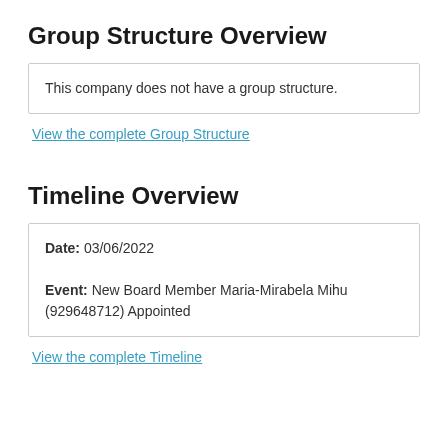Group Structure Overview
This company does not have a group structure.
View the complete Group Structure
Timeline Overview
Date: 03/06/2022
Event: New Board Member Maria-Mirabela Mihu (929648712) Appointed
View the complete Timeline